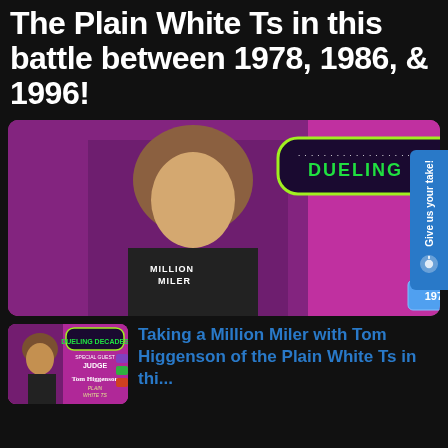The Plain White Ts in this battle between 1978, 1986, & 1996!
[Figure (screenshot): Dueling Decades game show graphic featuring Tom Higgenson of Plain White Ts as special guest judge, with 1978, 1986, and 1996 decade representatives shown at the bottom. Man in black Million Miler t-shirt in foreground.]
[Figure (screenshot): Thumbnail of Dueling Decades episode with Tom Higgenson of Plain White Ts as special guest judge]
Taking a Million Miler with Tom Higgenson of the Plain White Ts in thi...